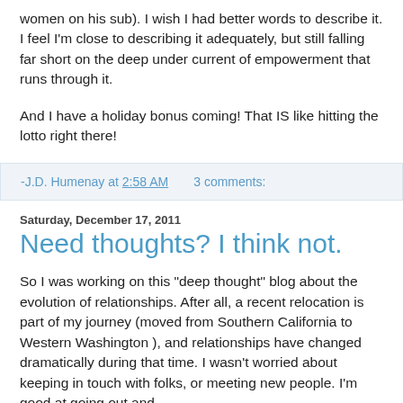women on his sub). I wish I had better words to describe it. I feel I'm close to describing it adequately, but still falling far short on the deep under current of empowerment that runs through it.
And I have a holiday bonus coming! That IS like hitting the lotto right there!
-J.D. Humenay at 2:58 AM    3 comments:
Saturday, December 17, 2011
Need thoughts? I think not.
So I was working on this "deep thought" blog about the evolution of relationships. After all, a recent relocation is part of my journey (moved from Southern California to Western Washington ), and relationships have changed dramatically during that time. I wasn't worried about keeping in touch with folks, or meeting new people. I'm good at going out and